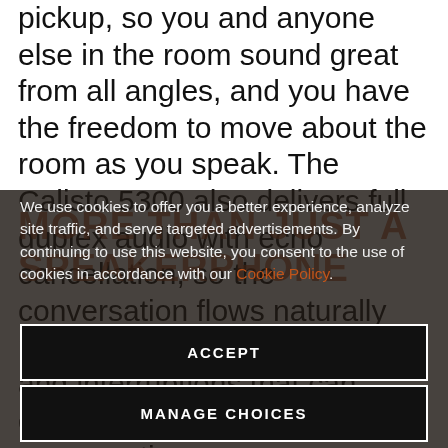pickup, so you and anyone else in the room sound great from all angles, and you have the freedom to move about the room as you speak. The Calisto 5300 also delivers full duplex audio with echo cancellation, so the conversation flows naturally preventing awkward latency and interruptions that can derail an important conversation.
MORE THAN JUST A SPEAKERPHONE
We use cookies to offer you a better experience, analyze site traffic, and serve targeted advertisements. By continuing to use this website, you consent to the use of cookies in accordance with our Cookie Policy.
ACCEPT
MANAGE CHOICES
downtime to listen to your favorite music or